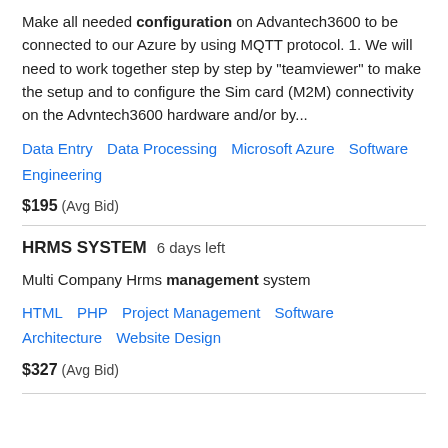Make all needed configuration on Advantech3600 to be connected to our Azure by using MQTT protocol. 1. We will need to work together step by step by "teamviewer" to make the setup and to configure the Sim card (M2M) connectivity on the Advntech3600 hardware and/or by...
Data Entry   Data Processing   Microsoft Azure   Software Engineering
$195  (Avg Bid)
HRMS SYSTEM  6 days left
Multi Company Hrms management system
HTML   PHP   Project Management   Software Architecture   Website Design
$327  (Avg Bid)